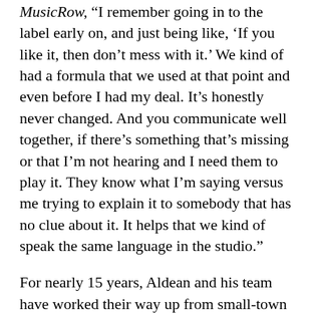MusicRow, “I remember going in to the label early on, and just being like, ‘If you like it, then don’t mess with it.’ We kind of had a formula that we used at that point and even before I had my deal. It’s honestly never changed. And you communicate well together, if there’s something that’s missing or that I’m not hearing and I need them to play it. They know what I’m saying versus me trying to explain it to somebody that has no clue about it. It helps that we kind of speak the same language in the studio.”
For nearly 15 years, Aldean and his team have worked their way up from small-town clubs to stadium shows, selling 18 million albums and earning 15 billion streams along the way. He’s notched 23 No. 1 radio hits, including 4x multi-